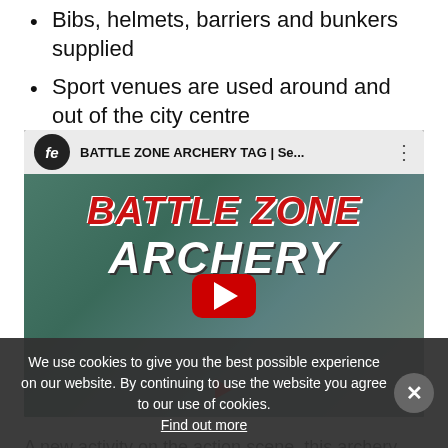Bibs, helmets, barriers and bunkers supplied
Sport venues are used around and out of the city centre
[Figure (screenshot): YouTube video thumbnail for 'BATTLE ZONE ARCHERY TAG | Se...' showing a person with a bow, with large stylized red and white text reading BATTLE ZONE ARCHERY, a red YouTube play button in the center, and a small channel icon labeled 'fe' in the top left.]
A new activity on the action scene, this archery combat zone tag for groups in Galway is sure to get your adrenaline pumping! This exciting activity is a
We use cookies to give you the best possible experience on our website. By continuing to use the website you agree to our use of cookies. Find out more